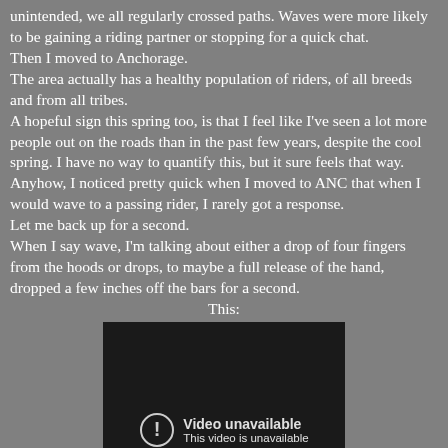unintended, we all regularly crossed paths. Waves were more likely to be gaining a riding partner or stopping for a quick chat.
Then I moved to Anchorage.
The area actually has a healthy population of riders, of all breeds and from all tribes.
A hopeful sign this spring too, is that I feel like I've seen a lot more people out on the roads than in the past few years, despite the cool spring. I have no way to quantify this, but it sure feels that way.
Anyhow, I noticed pretty quick when I moved to ANC that when I would wave to a passing rider, I rarely got a response.
Let me back up for a second.
When I say wave, I'm talking about either a drop of four fingers from the hoods or drops, to maybe a full release of the hand, dropped a few inches off the bars for a second.
This:
[Figure (screenshot): Embedded video player showing 'Video unavailable - This video is unavailable' message with a warning icon circle on a dark background.]